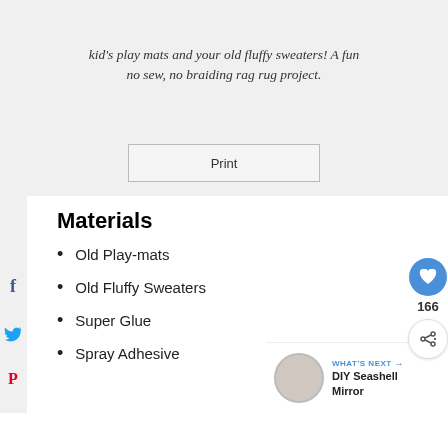kid's play mats and your old fluffy sweaters! A fun no sew, no braiding rag rug project.
Print
Materials
Old Play-mats
Old Fluffy Sweaters
Super Glue
Spray Adhesive
WHAT'S NEXT → DIY Seashell Mirror